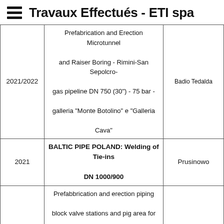☰ Travaux Effectués - ETI spa
| Year | Description | Location |
| --- | --- | --- |
| 2021/2022 | Prefabrication and Erection Microtunnel and Raiser Boring - Rimini-San Sepolcro- gas pipeline DN 750 (30") - 75 bar - galleria "Monte Botolino" e "Galleria Cava" | Badio Tedalda |
| 2021 | BALTIC PIPE POLAND: Welding of Tie-ins DN 1000/900 | Prusinowo |
| 2021 | Prefabbrication and erection piping block valve stations and pig area for project "Met. Coll. RAVENNA MARE - RAVENNA TERRA 2° TRATTO DN 650 (26"), DP 75 | Ravenna |